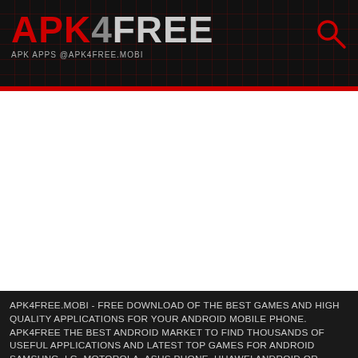APK4FREE — APK APPS @APK4FREE.MOBI
[Figure (other): White advertisement area / blank ad space]
APK4FREE.MOBI - FREE DOWNLOAD OF THE BEST GAMES AND HIGH QUALITY APPLICATIONS FOR YOUR ANDROID MOBILE PHONE. APK4FREE THE BEST ANDROID MARKET TO FIND THOUSANDS OF USEFUL APPLICATIONS AND LATEST TOP GAMES FOR ANDROID SAMSUNG, LG, MOTOROLA, ASUS PHONE, HUAWEI ANDROID OR TABLET DEVICES. ALL APK4FREE APK CLASS FROM THE MOST POPULAR CATEGORIES LIKE DESIGN, PHOTOS, DATING, SOCIAL, FITNESS, FOOD APPLICATION AND ACTION, FIGHTING, PUZZLE, MULTIPLAYER, ONLINE, ARCADE, RACING, SHOOTER GAMES. APKTIDY APPS DOWNLOAD ON APKTIDY APK STORE NETWORK. GET APPS IN